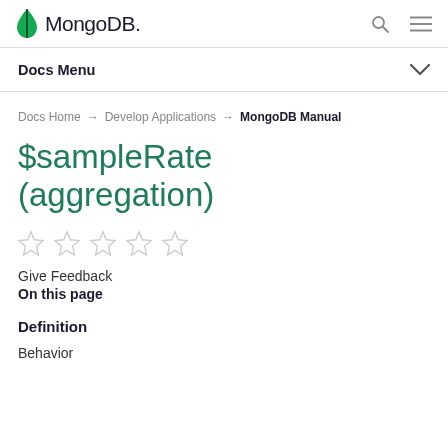MongoDB — Docs Menu
Docs Home → Develop Applications → MongoDB Manual
$sampleRate (aggregation)
[Figure (infographic): Five empty star rating icons in a row]
Give Feedback
On this page
Definition
Behavior